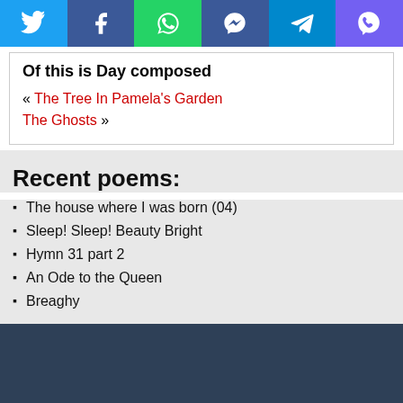[Figure (infographic): Social media sharing bar with Twitter, Facebook, WhatsApp, Messenger, Telegram, and Viber icons]
Of this is Day composed
« The Tree In Pamela's Garden
The Ghosts »
Recent poems:
The house where I was born (04)
Sleep! Sleep! Beauty Bright
Hymn 31 part 2
An Ode to the Queen
Breaghy